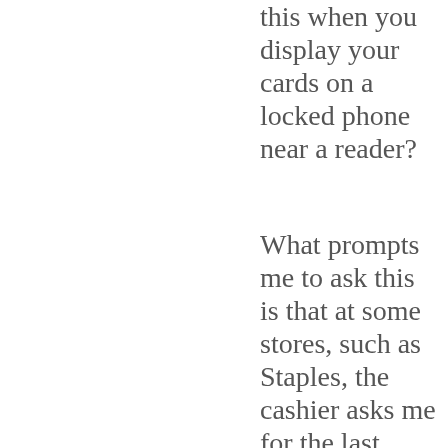this when you display your cards on a locked phone near a reader?
What prompts me to ask this is that at some stores, such as Staples, the cashier asks me for the last